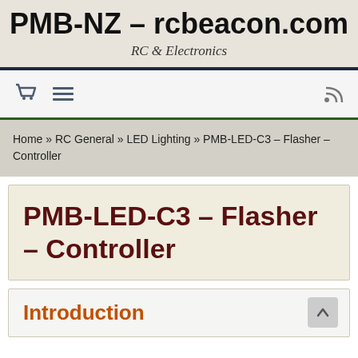PMB-NZ – rcbeacon.com
RC & Electronics
Home » RC General » LED Lighting » PMB-LED-C3 – Flasher – Controller
PMB-LED-C3 – Flasher – Controller
Introduction